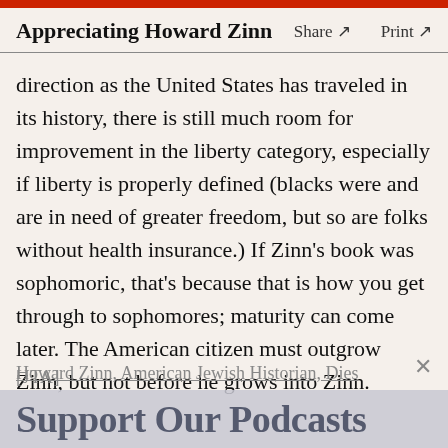Appreciating Howard Zinn   Share ↗   Print ↗
direction as the United States has traveled in its history, there is still much room for improvement in the liberty category, especially if liberty is properly defined (blacks were and are in need of greater freedom, but so are folks without health insurance.) If Zinn's book was sophomoric, that's because that is how you get through to sophomores; maturity can come later. The American citizen must outgrow Zinn, but not before he grows into Zinn.
Howard Zinn, American Jewish Historian, Dies [JTA]
Support Our Podcasts